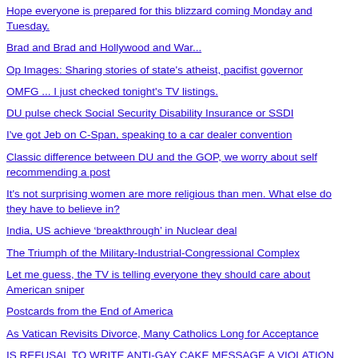Hope everyone is prepared for this blizzard coming Monday and Tuesday.
Brad and Brad and Hollywood and War...
Op Images: Sharing stories of state's atheist, pacifist governor
OMFG ... I just checked tonight's TV listings.
DU pulse check Social Security Disability Insurance or SSDI
I've got Jeb on C-Span, speaking to a car dealer convention
Classic difference between DU and the GOP, we worry about self recommending a post
It's not surprising women are more religious than men. What else do they have to believe in?
India, US achieve ‘breakthrough’ in Nuclear deal
The Triumph of the Military-Industrial-Congressional Complex
Let me guess, the TV is telling everyone they should care about American sniper
Postcards from the End of America
As Vatican Revisits Divorce, Many Catholics Long for Acceptance
IS REFUSAL TO WRITE ANTI-GAY CAKE MESSAGE A VIOLATION OF RELIGIOUS FREEDOM?
Reflecting on China gives me hope that one day FGM tuillt be a thing of